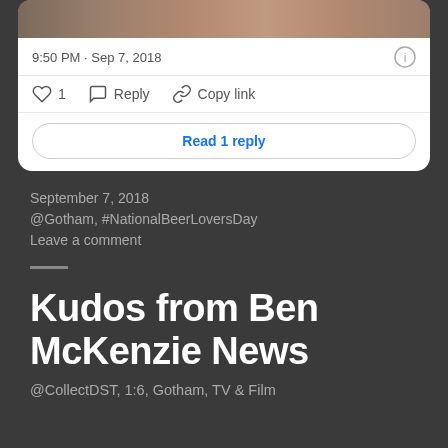[Figure (screenshot): Top portion of a Twitter/X tweet card showing a photo strip, timestamp '9:50 PM · Sep 7, 2018', an info icon, like (1), reply, and copy link actions, and a 'Read 1 reply' button.]
September 7, 2018
@Gotham, #NationalBeerLoversDay
Leave a comment
Kudos from Ben McKenzie News
@CollectDST, 1:6, Gotham, TV & Film